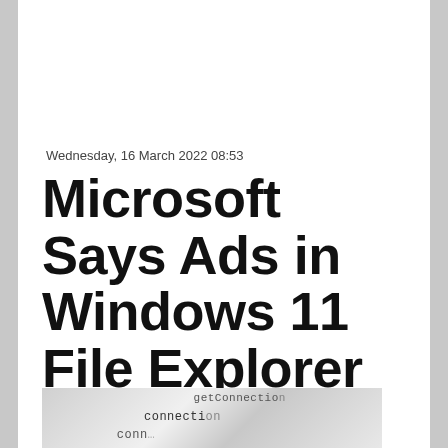Wednesday, 16 March 2022 08:53
Microsoft Says Ads in Windows 11 File Explorer Were Not Meant for Us to See
[Figure (photo): Close-up blurred photo of code or text on a screen showing partial words including 'getConnection', 'conn', and other programming-related text]